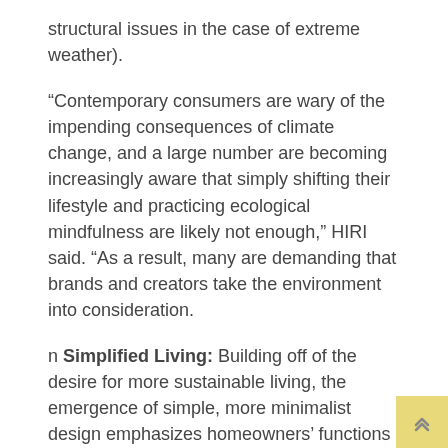structural issues in the case of extreme weather).
“Contemporary consumers are wary of the impending consequences of climate change, and a large number are becoming increasingly aware that simply shifting their lifestyle and practicing ecological mindfulness are likely not enough,” HIRI said. “As a result, many are demanding that brands and creators take the environment into consideration.
n Simplified Living: Building off of the desire for more sustainable living, the emergence of simple, more minimalist design emphasizes homeowners’ functions and needs.
“Contemporary consumers in fast-paced urban centers are looking to balance the demands of their